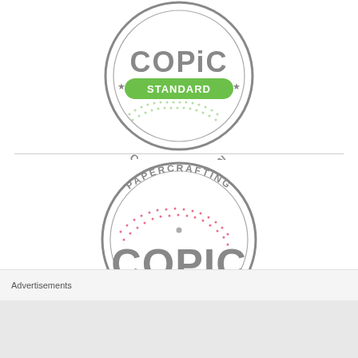[Figure (logo): Copic Standard Certification badge — circular grey-bordered stamp with 'COPIC' text in large grey letters, a green rounded-rectangle label reading 'STANDARD', dotted arc pattern, and 'CERTIFICATION' text along the bottom arc, with star decorations]
[Figure (logo): Papercrafting Copic Intermediate Certification badge — circular grey-bordered stamp with 'PAPERCRAFTING' text along the top arc, dotted arc pattern in pink/red, 'COPIC' in large grey letters, a pink/magenta rounded-rectangle label reading 'INTERMEDIATE', star decorations, and 'CERTIFICATION' partially visible at bottom]
Advertisements